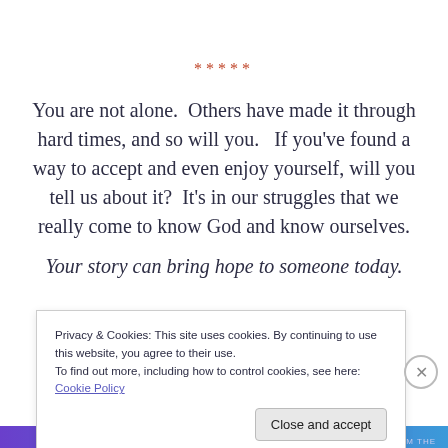*****
You are not alone.  Others have made it through hard times, and so will you.   If you've found a way to accept and even enjoy yourself, will you tell us about it?  It's in our struggles that we really come to know God and know ourselves.
Your story can bring hope to someone today.
Privacy & Cookies: This site uses cookies. By continuing to use this website, you agree to their use.
To find out more, including how to control cookies, see here: Cookie Policy
Close and accept